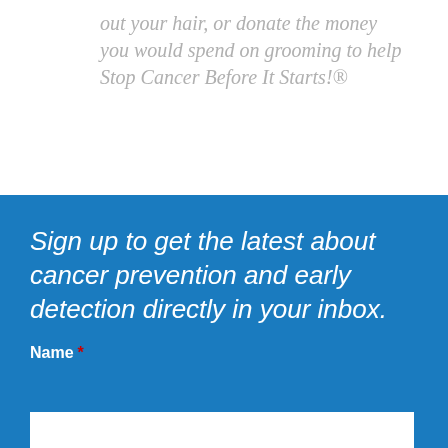out your hair, or donate the money you would spend on grooming to help Stop Cancer Before It Starts!®
Sign up to get the latest about cancer prevention and early detection directly in your inbox.
Name *